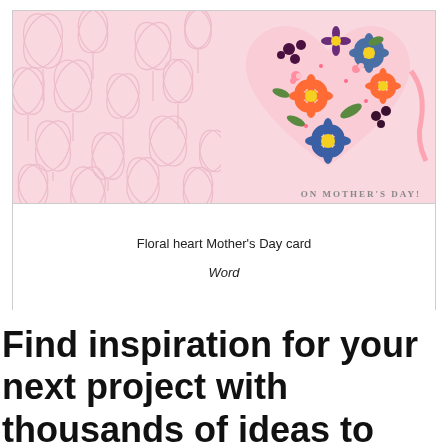[Figure (illustration): Mother's Day card with floral heart design. Left half features a pink botanical/damask pattern background. Right half shows a colorful heart shape made of blue, purple, orange, and pink flowers on a pink background. Text at bottom right reads 'On Mother's Day!']
Floral heart Mother's Day card
Word
Find inspiration for your next project with thousands of ideas to choose from